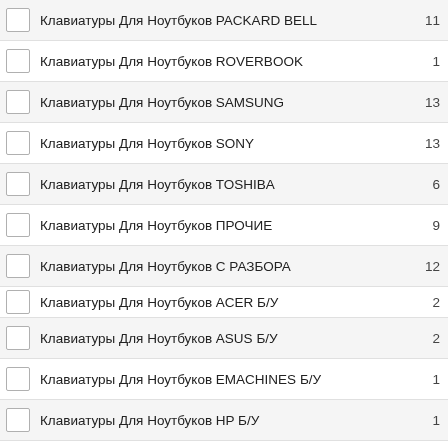Клавиатуры Для Ноутбуков PACKARD BELL
Клавиатуры Для Ноутбуков ROVERBOOK
Клавиатуры Для Ноутбуков SAMSUNG
Клавиатуры Для Ноутбуков SONY
Клавиатуры Для Ноутбуков TOSHIBA
Клавиатуры Для Ноутбуков ПРОЧИЕ
Клавиатуры Для Ноутбуков С РАЗБОРА
Клавиатуры Для Ноутбуков ACER Б/У
Клавиатуры Для Ноутбуков ASUS Б/У
Клавиатуры Для Ноутбуков EMACHINES Б/У
Клавиатуры Для Ноутбуков HP Б/У
Клавиатуры Для Ноутбуков MSI Б/У
Клавиатуры Для Ноутбуков SAMSUNG Б/У
Клавиатуры Для Ноутбуков SONY Б/У
Кнопки Включения Ноутбуков